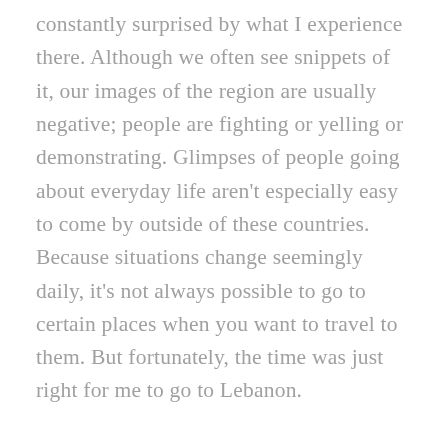constantly surprised by what I experience there. Although we often see snippets of it, our images of the region are usually negative; people are fighting or yelling or demonstrating. Glimpses of people going about everyday life aren't especially easy to come by outside of these countries. Because situations change seemingly daily, it's not always possible to go to certain places when you want to travel to them. But fortunately, the time was just right for me to go to Lebanon.